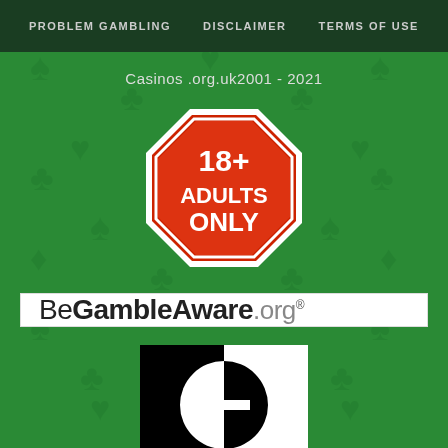PROBLEM GAMBLING  DISCLAIMER  TERMS OF USE
Casinos .org.uk2001 - 2021
[Figure (logo): 18+ Adults Only octagonal stop-sign style logo in red and white]
[Figure (logo): BeGambleAware.org logo on white background]
[Figure (logo): GamCare Problem Gambling Support UK logo - black and white G icon with text]